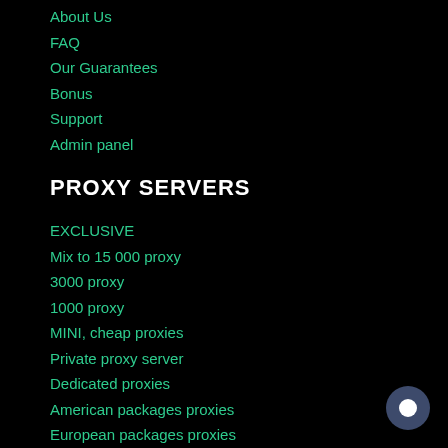About Us
FAQ
Our Guarantees
Bonus
Support
Admin panel
PROXY SERVERS
EXCLUSIVE
Mix to 15 000 proxy
3000 proxy
1000 proxy
MINI, cheap proxies
Private proxy server
Dedicated proxies
American packages proxies
European packages proxies
USA proxy
Proxy Servers for Facebook